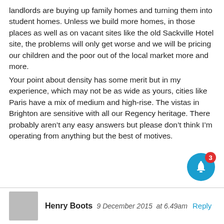landlords are buying up family homes and turning them into student homes. Unless we build more homes, in those places as well as on vacant sites like the old Sackville Hotel site, the problems will only get worse and we will be pricing our children and the poor out of the local market more and more.
Your point about density has some merit but in my experience, which may not be as wide as yours, cities like Paris have a mix of medium and high-rise. The vistas in Brighton are sensitive with all our Regency heritage. There probably aren’t any easy answers but please don’t think I’m operating from anything but the best of motives.
Henry Boots  9 December 2015  at 6.49am  Reply